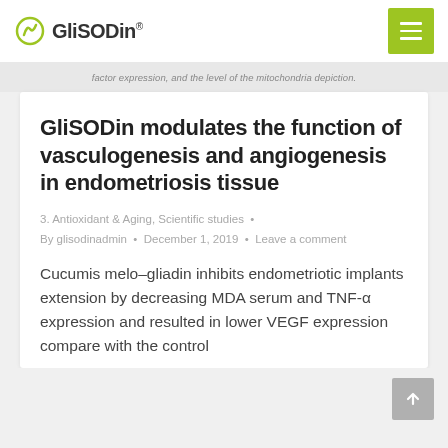GliSODin®
factor expression, and the level of the mitochondria depiction.
GliSODin modulates the function of vasculogenesis and angiogenesis in endometriosis tissue
3. Antioxidant & Aging, Scientific studies •
By glisodinadmin • December 1, 2019 • Leave a comment
Cucumis melo–gliadin inhibits endometriotic implants extension by decreasing MDA serum and TNF-α expression and resulted in lower VEGF expression compare with the control